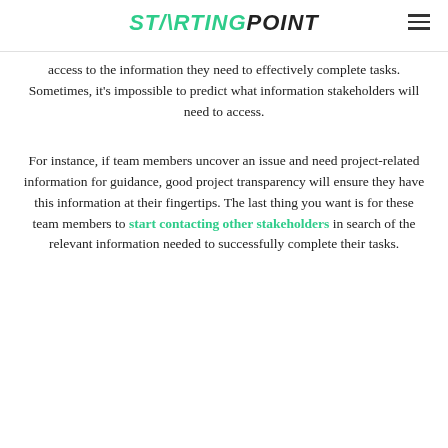STARTINGPOINT
access to the information they need to effectively complete tasks. Sometimes, it's impossible to predict what information stakeholders will need to access.
For instance, if team members uncover an issue and need project-related information for guidance, good project transparency will ensure they have this information at their fingertips. The last thing you want is for these team members to start contacting other stakeholders in search of the relevant information needed to successfully complete their tasks.